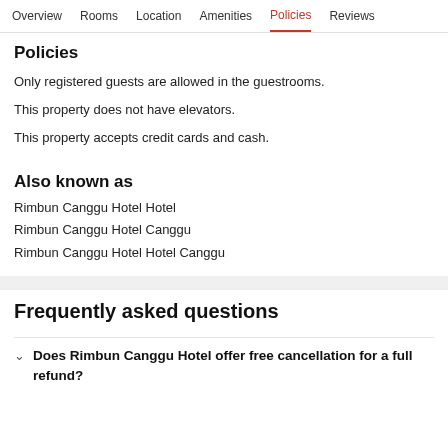Overview  Rooms  Location  Amenities  Policies  Reviews
Policies
Only registered guests are allowed in the guestrooms.
This property does not have elevators.
This property accepts credit cards and cash.
Also known as
Rimbun Canggu Hotel Hotel
Rimbun Canggu Hotel Canggu
Rimbun Canggu Hotel Hotel Canggu
Frequently asked questions
Does Rimbun Canggu Hotel offer free cancellation for a full refund?